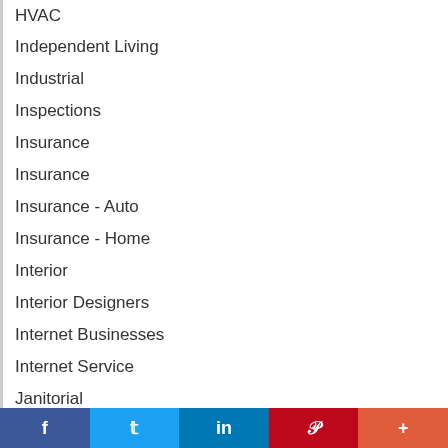HVAC
Independent Living
Industrial
Inspections
Insurance
Insurance
Insurance - Auto
Insurance - Home
Interior
Interior Designers
Internet Businesses
Internet Service
Janitorial
Jewelry